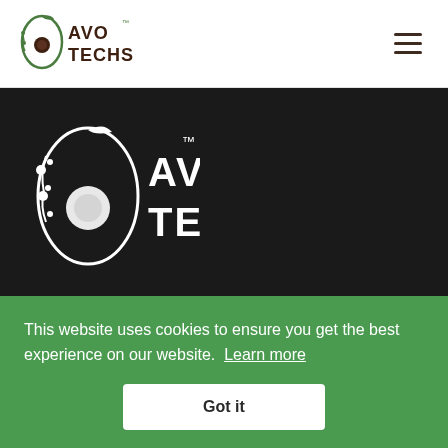[Figure (logo): AvoTechs logo in header — avocado icon with 'AVO TECHS' text in dark brown/green]
[Figure (other): Hamburger menu icon (three horizontal lines) in top right corner]
[Figure (logo): AvoTechs logo large white version on dark background hero section]
AvoTechs specialises in creating business-oriented, … impact on
This website uses cookies to ensure you get the best experience on our website. Learn more
Got it